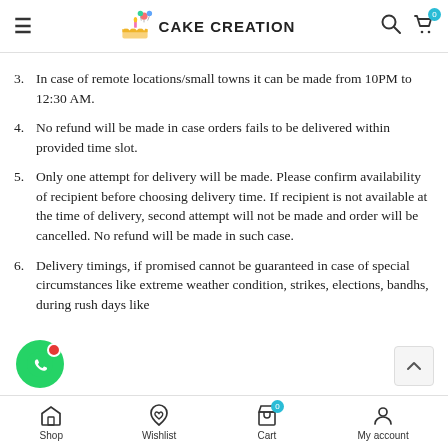CAKE CREATION
3. In case of remote locations/small towns it can be made from 10PM to 12:30 AM.
4. No refund will be made in case orders fails to be delivered within provided time slot.
5. Only one attempt for delivery will be made. Please confirm availability of recipient before choosing delivery time. If recipient is not available at the time of delivery, second attempt will not be made and order will be cancelled. No refund will be made in such case.
6. Delivery timings, if promised cannot be guaranteed in case of special circumstances like extreme weather conditio... strikes, elections, bandhs, during rush days like...
Shop   Wishlist   Cart   My account